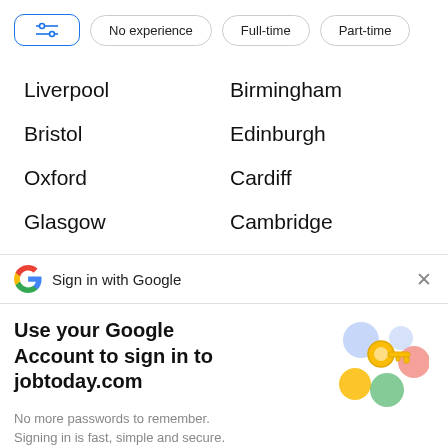[Figure (screenshot): Filter button row: settings icon button (active/blue border), No experience, Full-time, Part-time filter pills]
Liverpool
Birmingham
Bristol
Edinburgh
Oxford
Cardiff
Glasgow
Cambridge
Sign in with Google
Use your Google Account to sign in to jobtoday.com
No more passwords to remember.
Signing in is fast, simple and secure.
[Figure (illustration): Google key/security illustration with colorful circles and a golden key]
Continue